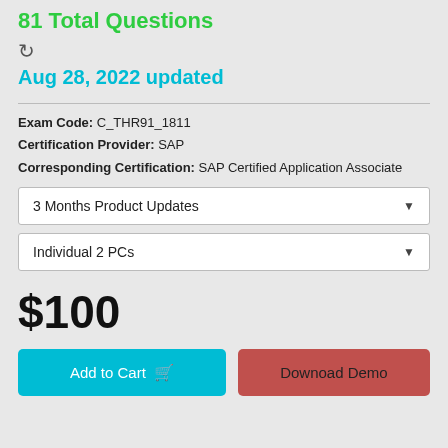81 Total Questions
Aug 28, 2022 updated
Exam Code: C_THR91_1811
Certification Provider: SAP
Corresponding Certification: SAP Certified Application Associate
3 Months Product Updates
Individual 2 PCs
$100
Add to Cart
Downoad Demo